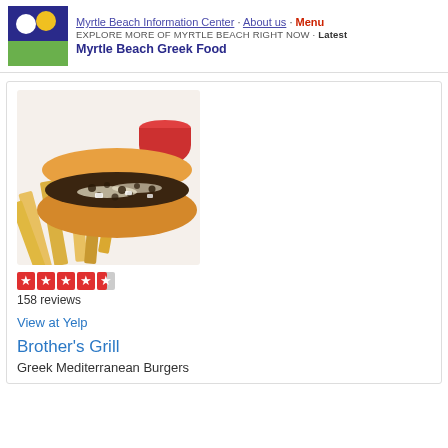Myrtle Beach Information Center · About us · Menu
EXPLORE MORE OF MYRTLE BEACH RIGHT NOW · Latest
Myrtle Beach Greek Food
[Figure (photo): A cheesesteak or Greek-style meat sandwich on a hoagie roll with fries and a cup of tomato sauce]
158 reviews
View at Yelp
Brother's Grill
Greek Mediterranean Burgers